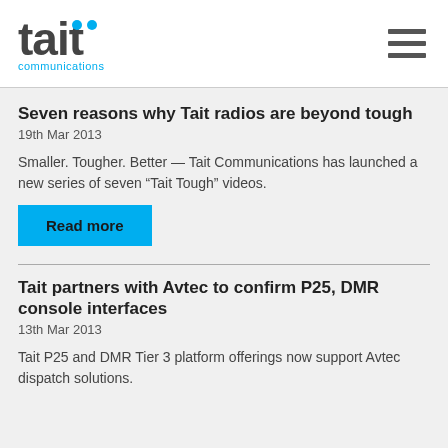tait communications
Seven reasons why Tait radios are beyond tough
19th Mar 2013
Smaller. Tougher. Better — Tait Communications has launched a new series of seven “Tait Tough” videos.
Read more
Tait partners with Avtec to confirm P25, DMR console interfaces
13th Mar 2013
Tait P25 and DMR Tier 3 platform offerings now support Avtec dispatch solutions.